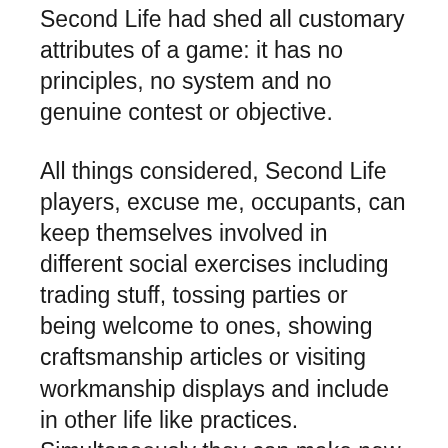Second Life had shed all customary attributes of a game: it has no principles, no system and no genuine contest or objective.
All things considered, Second Life players, excuse me, occupants, can keep themselves involved in different social exercises including trading stuff, tossing parties or being welcome to ones, showing craftsmanship articles or visiting workmanship displays and include in other life like practices. Simultaneously they can make new companions and additionally adversaries and experience the whole extent of human feelings towards each other.
These were just two outrageous models – the exemplary prepackaged game turns virtual